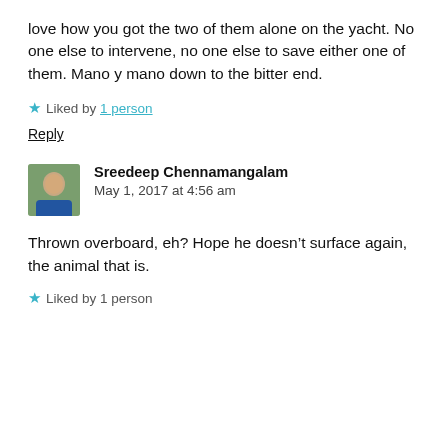love how you got the two of them alone on the yacht. No one else to intervene, no one else to save either one of them. Mano y mano down to the bitter end.
Liked by 1 person
Reply
Sreedeep Chennamangalam
May 1, 2017 at 4:56 am
Thrown overboard, eh? Hope he doesn’t surface again, the animal that is.
Liked by 1 person